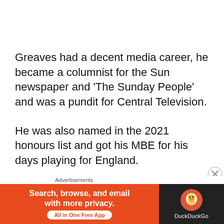Greaves had a decent media career, he became a columnist for the Sun newspaper and 'The Sunday People' and was a pundit for Central Television.
He was also named in the 2021 honours list and got his MBE for his days playing for England.
In 2012 he had a mild stroke after having surgery on his neck, he recovered for several years when
Advertisements
[Figure (other): DuckDuckGo advertisement banner: orange left panel reading 'Search, browse, and email with more privacy. All in One Free App' with a white call-to-action button, and dark right panel with DuckDuckGo logo and brand name.]